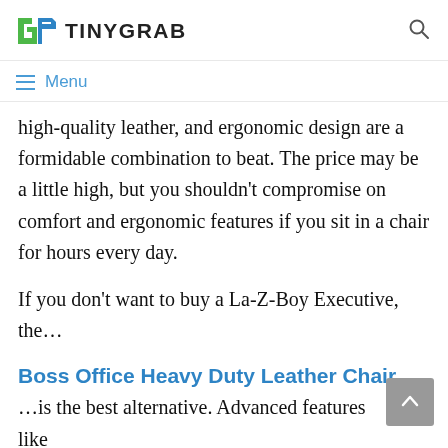TINYGRAB
Menu
high-quality leather, and ergonomic design are a formidable combination to beat. The price may be a little high, but you shouldn't compromise on comfort and ergonomic features if you sit in a chair for hours every day.
If you don't want to buy a La-Z-Boy Executive, the…
Boss Office Heavy Duty Leather Chair
…is the best alternative. Advanced features like